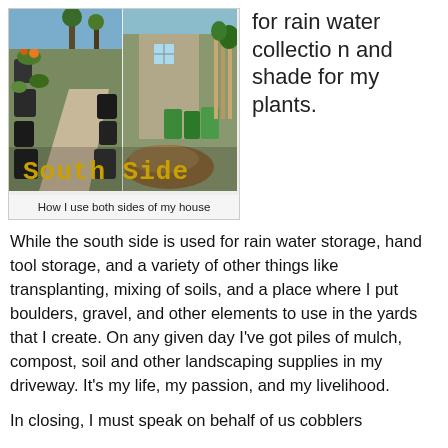[Figure (photo): Composite photo showing two views labeled 'South Side' — left image shows a driveway lined with large dark containers/pots and plants, right image shows a house side with green bins and a pile of mulch/wood chips. Text overlay reads 'South Side' in gold/orange monospace font.]
How I use both sides of my house
for rain water collection and shade for my plants.
While the south side is used for rain water storage, hand tool storage, and a variety of other things like transplanting, mixing of soils, and a place where I put boulders, gravel, and other elements to use in the yards that I create. On any given day I've got piles of mulch, compost, soil and other landscaping supplies in my driveway. It's my life, my passion, and my livelihood.
In closing, I must speak on behalf of us cobblers